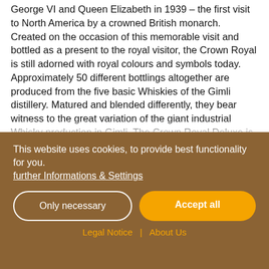George VI and Queen Elizabeth in 1939 – the first visit to North America by a crowned British monarch. Created on the occasion of this memorable visit and bottled as a present to the royal visitor, the Crown Royal is still adorned with royal colours and symbols today.
Approximately 50 different bottlings altogether are produced from the five basic Whiskies of the Gimli distillery. Matured and blended differently, they bear witness to the great variation of the giant industrial Whisky production in Gimli. The Crown Royal Deluxe is the best-selling standard Whisky of the label; as a blended Whisky it has a smooth and full-bodied balance dominated by notes of fruit, creamy vanilla
This website uses cookies, to provide best functionality for you.
further Informations & Settings
Only necessary
Accept all
Legal Notice | About Us